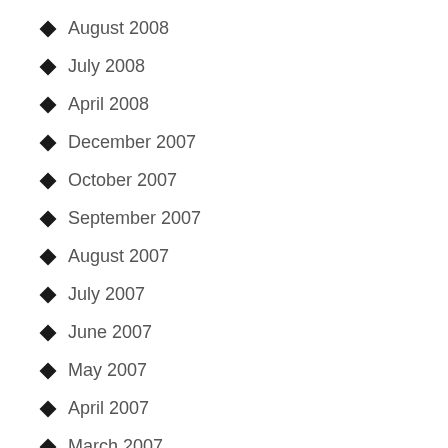August 2008
July 2008
April 2008
December 2007
October 2007
September 2007
August 2007
July 2007
June 2007
May 2007
April 2007
March 2007